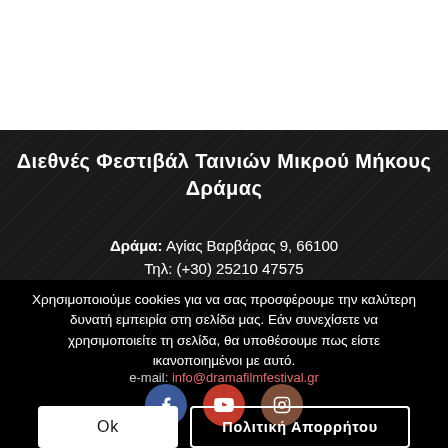Διεθνές Φεστιβάλ Ταινιών Μικρού Μήκους Δράμας
Δράμα: Αγίας Βαρβάρας 9, 66100
Τηλ: (+30) 25210 47575
Αθήνα: Εμμ. Μπενάκη 71, 10681
Τηλ: (+30) 210 330 0309
e-mail: info@dramafilmfestival.gr
Χρησιμοποιούμε cookies για να σας προσφέρουμε την καλύτερη δυνατή εμπειρία στη σελίδα μας. Εάν συνεχίσετε να χρησιμοποιείτε τη σελίδα, θα υποθέσουμε πως είστε ικανοποιημένοι με αυτό.